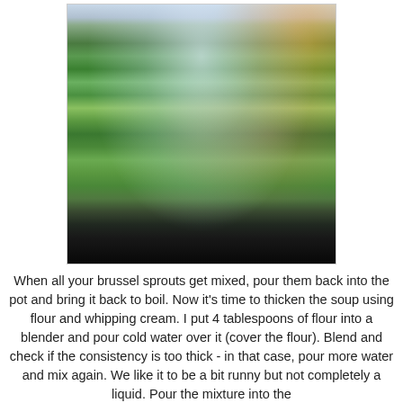[Figure (photo): A photo of a blender jar containing green blended brussels sprouts with visible green leafy pieces mixed in liquid. The blender has a clear glass jar, a red handle visible on the left, and a colorful object in the top right background.]
When all your brussel sprouts get mixed, pour them back into the pot and bring it back to boil. Now it's time to thicken the soup using flour and whipping cream. I put 4 tablespoons of flour into a blender and pour cold water over it (cover the flour). Blend and check if the consistency is too thick - in that case, pour more water and mix again. We like it to be a bit runny but not completely a liquid. Pour the mixture into the